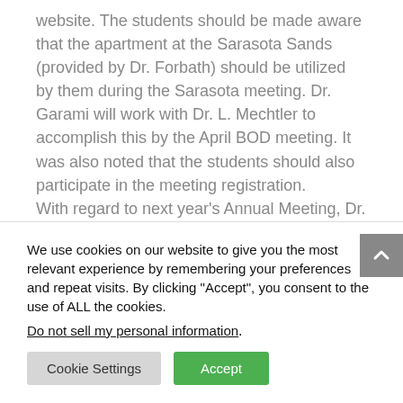website. The students should be made aware that the apartment at the Sarasota Sands (provided by Dr. Forbath) should be utilized by them during the Sarasota meeting. Dr. Garami will work with Dr. L. Mechtler to accomplish this by the April BOD meeting. It was also noted that the students should also participate in the meeting registration. With regard to next year's Annual Meeting, Dr. Stadler announced that the dates of the next meeting are October 23-28, 2011. The title of
We use cookies on our website to give you the most relevant experience by remembering your preferences and repeat visits. By clicking "Accept", you consent to the use of ALL the cookies.
Do not sell my personal information.
Cookie Settings
Accept